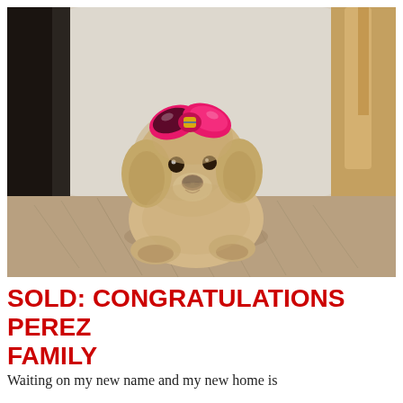[Figure (photo): A small fluffy tan/cream puppy (appears to be a Maltipoo or similar small breed) wearing a large pink bow on its head, sitting/lying on a fur-like surface with wooden furniture and a white background behind it.]
SOLD: CONGRATULATIONS PEREZ FAMILY
Waiting on my new name and my new home is